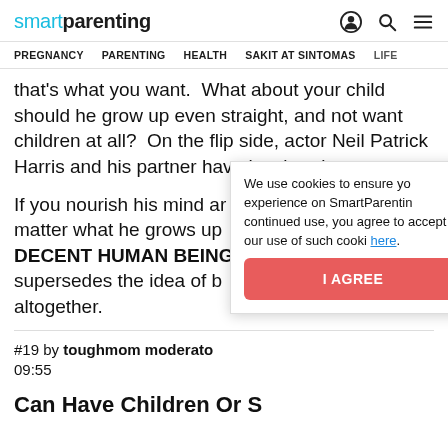smartparenting — PREGNANCY  PARENTING  HEALTH  SAKIT AT SINTOMAS  LIFE
that's what you want.  What about your child should he grow up even straight, and not want children at all?  On the flip side, actor Neil Patrick Harris and his partner have lovely twins.
If you nourish his mind ar matter what he grows up DECENT HUMAN BEING. supersedes the idea of b altogether.
We use cookies to ensure yo experience on SmartParentin continued use, you agree to accept our use of such cooki here.
I AGREE
#19 by toughmom moderato 09:55
Can Have Children Or S